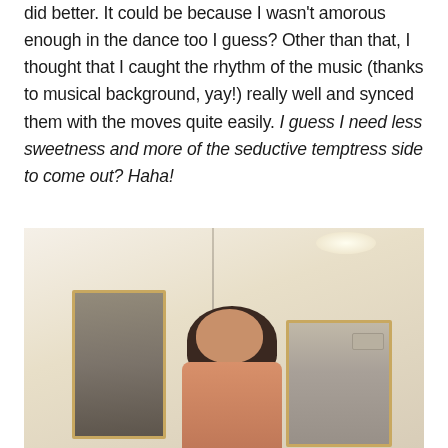did better. It could be because I wasn't amorous enough in the dance too I guess? Other than that, I thought that I caught the rhythm of the music (thanks to musical background, yay!) really well and synced them with the moves quite easily. I guess I need less sweetness and more of the seductive temptress side to come out? Haha!
[Figure (photo): Indoor photo showing a person smiling in a room with two framed mirrors on cream-colored walls. The person has brown hair and is visible from roughly mid-torso up, centered in the lower portion. A left mirror shows a reflection of the room, and a right taller mirror also shows a reflection including an air conditioning unit.]